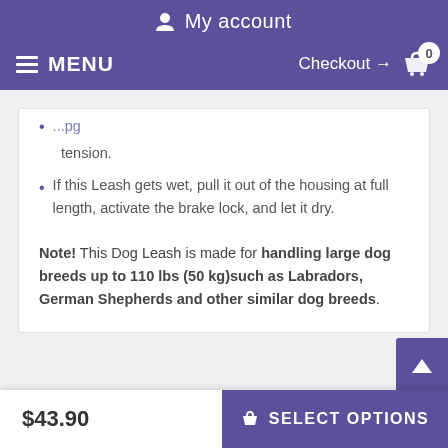My account | MENU | Checkout → 0
tension.
If this Leash gets wet, pull it out of the housing at full length, activate the brake lock, and let it dry.
Note! This Dog Leash is made for handling large dog breeds up to 110 lbs (50 kg)such as Labradors, German Shepherds and other similar dog breeds.
REVIEWS
$43.90  SELECT OPTIONS